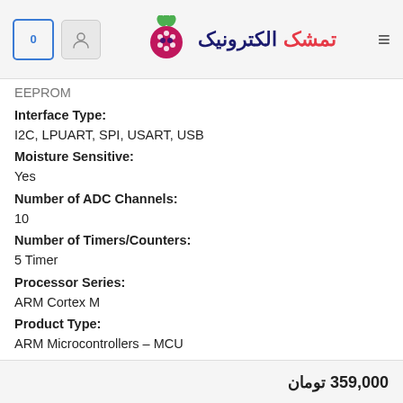تمشک الکترونیک — logo and navigation header
EEPROM
Interface Type:
I2C, LPUART, SPI, USART, USB
Moisture Sensitive:
Yes
Number of ADC Channels:
10
Number of Timers/Counters:
5 Timer
Processor Series:
ARM Cortex M
Product Type:
ARM Microcontrollers – MCU
Factory Pack Quantity:
1500
Subcategory:
359,000 تومان